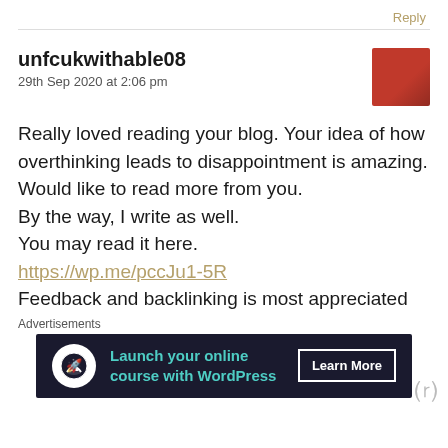Reply
unfcukwithable08
29th Sep 2020 at 2:06 pm
Really loved reading your blog. Your idea of how overthinking leads to disappointment is amazing. Would like to read more from you.
By the way, I write as well.
You may read it here.
https://wp.me/pccJu1-5R
Feedback and backlinking is most appreciated
Advertisements
[Figure (infographic): Advertisement banner: 'Launch your online course with WordPress' with a Learn More button, dark background with teal text.]